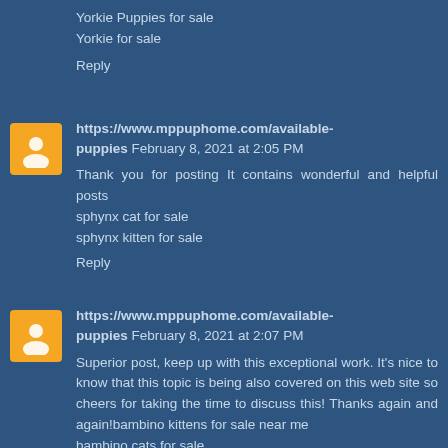Yorkie Puppies for sale
Yorkie for sale
Reply
https://www.mppuphome.com/available-puppies  February 8, 2021 at 2:05 PM
Thank you for posting It contains wonderful and helpful posts
sphynx cat for sale
sphynx kitten for sale
Reply
https://www.mppuphome.com/available-puppies  February 8, 2021 at 2:07 PM
Superior post, keep up with this exceptional work. It's nice to know that this topic is being also covered on this web site so cheers for taking the time to discuss this! Thanks again and again!bambino kittens for sale near me
bambino cats for sale